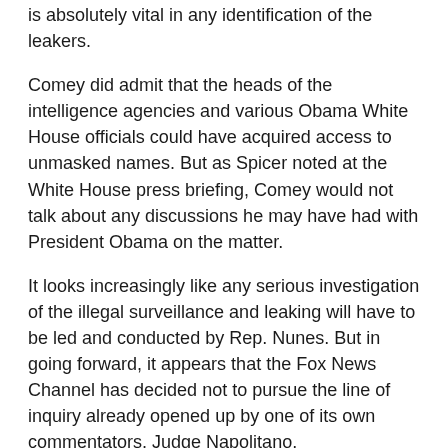is absolutely vital in any identification of the leakers.
Comey did admit that the heads of the intelligence agencies and various Obama White House officials could have acquired access to unmasked names. But as Spicer noted at the White House press briefing, Comey would not talk about any discussions he may have had with President Obama on the matter.
It looks increasingly like any serious investigation of the illegal surveillance and leaking will have to be led and conducted by Rep. Nunes. But in going forward, it appears that the Fox News Channel has decided not to pursue the line of inquiry already opened up by one of its own commentators, Judge Napolitano.
Predictably, there are now demands that Fox News fire its senior judicial analyst for offering his own informed opinion based on the facts and his own sources of information.
[UPDATE: The Los Angeles Times and other media are now reporting that Judge Napolitano has been suspended by the Fox